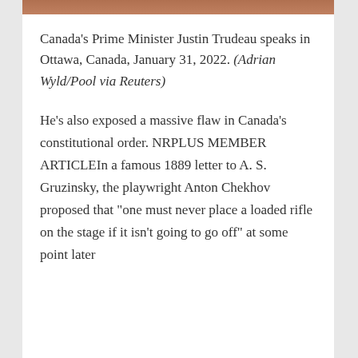[Figure (photo): Top strip of a photo of Canada's Prime Minister Justin Trudeau]
Canada's Prime Minister Justin Trudeau speaks in Ottawa, Canada, January 31, 2022. (Adrian Wyld/Pool via Reuters)
He’s also exposed a massive flaw in Canada’s constitutional order. NRPLUS MEMBER ARTICLEIn a famous 1889 letter to A. S. Gruzinsky, the playwright Anton Chekhov proposed that “one must never place a loaded rifle on the stage if it isn’t going to go off” at some point later